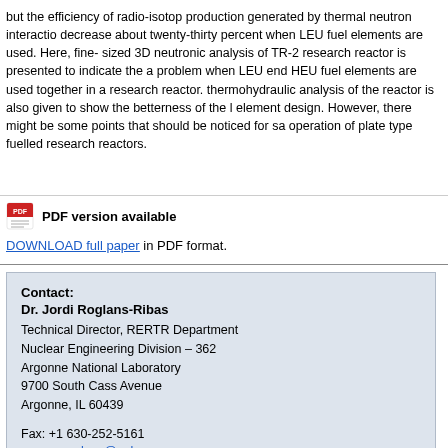but the efficiency of radio-isotop production generated by thermal neutron interaction decrease about twenty-thirty percent when LEU fuel elements are used. Here, fine-sized 3D neutronic analysis of TR-2 research reactor is presented to indicate the a problem when LEU end HEU fuel elements are used together in a research reactor. thermohydraulic analysis of the reactor is also given to show the betterness of the l element design. However, there might be some points that should be noticed for sa operation of plate type fuelled research reactors.
[Figure (other): PDF icon with bold text 'PDF version available']
DOWNLOAD full paper in PDF format.
Contact:
Dr. Jordi Roglans-Ribas
Technical Director, RERTR Department
Nuclear Engineering Division – 362
Argonne National Laboratory
9700 South Cass Avenue
Argonne, IL 60439

Fax: +1 630-252-5161

roglans@anl.gov